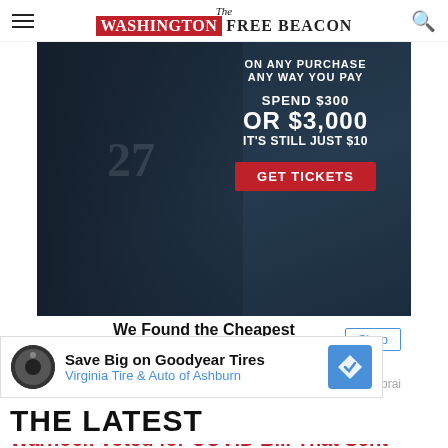The Washington Free Beacon
[Figure (photo): Advertisement for sports tickets showing football player with jersey number 27. Text reads: ON ANY PURCHASE ANY WAY YOU PAY - SPEND $300 OR $3,000 IT'S STILL JUST $10 - GET TICKETS button.]
We Found the Cheapest Tickets
SI Tickets
Outbrai
DEMOCRATS
Warnock Voted for COVID Bill That Sent $75K to Social Justice Group He Founded
[Figure (photo): Advertisement banner: Save Big on Goodyear Tires - Virginia Tire & Auto of Ashburn]
THE LATEST